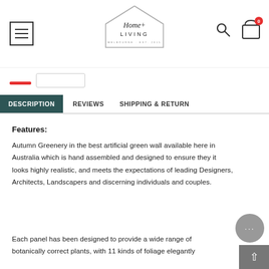[Figure (logo): Home+Living Melbourne Est. 2015 logo with house outline shape]
DESCRIPTION | REVIEWS | SHIPPING & RETURN
Features:
Autumn Greenery in the best artificial green wall available here in Australia which is hand assembled and designed to ensure they it looks highly realistic, and meets the expectations of leading Designers, Architects, Landscapers and discerning individuals and couples.
Each panel has been designed to provide a wide range of botanically correct plants, with 11 kinds of foliage elegantly